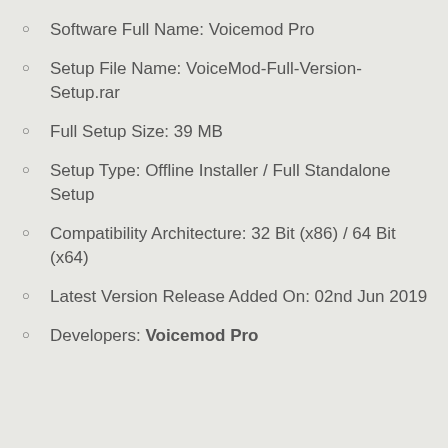Software Full Name: VoicemodPro
Setup File Name: VoiceMod-Full-Version-Setup.rar
Full Setup Size: 39 MB
Setup Type: Offline Installer / Full Standalone Setup
Compatibility Architecture: 32 Bit (x86) / 64 Bit (x64)
Latest Version Release Added On: 02nd Jun 2019
Developers: Voicemod Pro